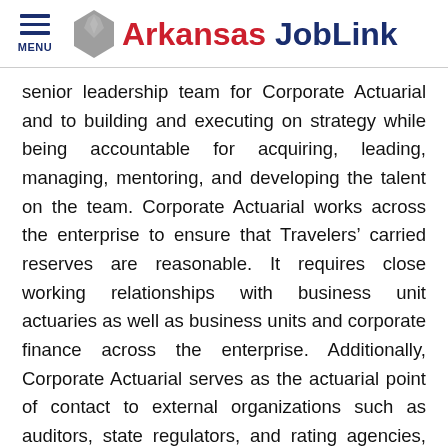MENU | Arkansas JobLink
senior leadership team for Corporate Actuarial and to building and executing on strategy while being accountable for acquiring, leading, managing, mentoring, and developing the talent on the team. Corporate Actuarial works across the enterprise to ensure that Travelers’ carried reserves are reasonable. It requires close working relationships with business unit actuaries as well as business units and corporate finance across the enterprise. Additionally, Corporate Actuarial serves as the actuarial point of contact to external organizations such as auditors, state regulators, and rating agencies, as well as providing information to Senior Management on a regular and ad hoc basis. The position leads a key role in